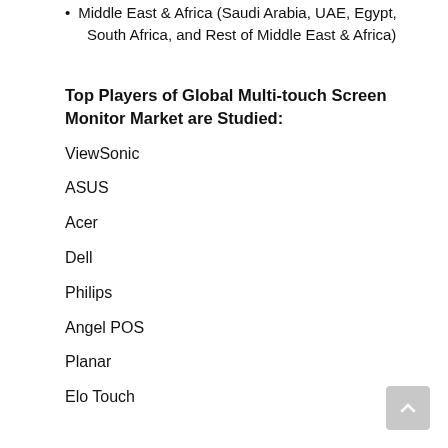Middle East & Africa (Saudi Arabia, UAE, Egypt, South Africa, and Rest of Middle East & Africa)
Top Players of Global Multi-touch Screen Monitor Market are Studied:
ViewSonic
ASUS
Acer
Dell
Philips
Angel POS
Planar
Elo Touch